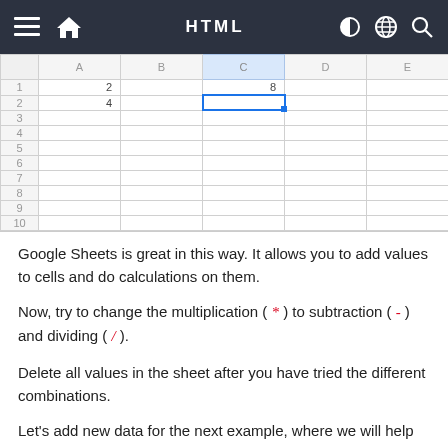HTML
[Figure (screenshot): A Google Sheets spreadsheet showing column headers (A, B, C, D, E), row numbers 1-10. Cell A1 contains '2', A2 contains '4', C1 contains '8'. Cell C2 is selected with a blue border and a blue fill handle dot at bottom-right.]
Google Sheets is great in this way. It allows you to add values to cells and do calculations on them.
Now, try to change the multiplication ( * ) to subtraction ( - ) and dividing ( / ).
Delete all values in the sheet after you have tried the different combinations.
Let's add new data for the next example, where we will help